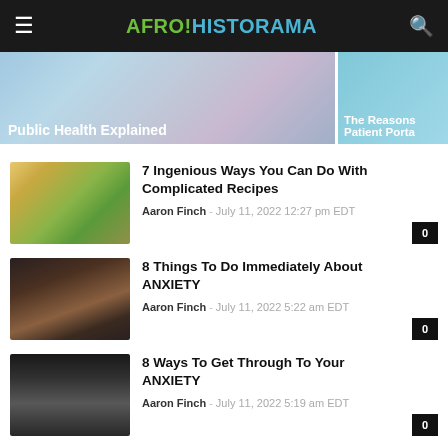AFRO!HISTORAMA
[Figure (photo): Hero banner split: medical/public health image on left, patient portal image on right. Left caption: 'Public Health Explained'. Right caption: 'The Reasons Patient Port...']
[Figure (photo): Thumbnail of groceries, recipes, food items in a basket]
7 Ingenious Ways You Can Do With Complicated Recipes
Aaron Finch – July 11, 2022 12:27 pm EDT
[Figure (photo): Thumbnail of woman holding paper with smiley face over mouth, dark background]
8 Things To Do Immediately About ANXIETY
Aaron Finch – July 11, 2022 5:22 am EDT
[Figure (photo): Thumbnail of person covering face with hands, black and white]
8 Ways To Get Through To Your ANXIETY
Aaron Finch – July 11, 2022 5:19 am EDT